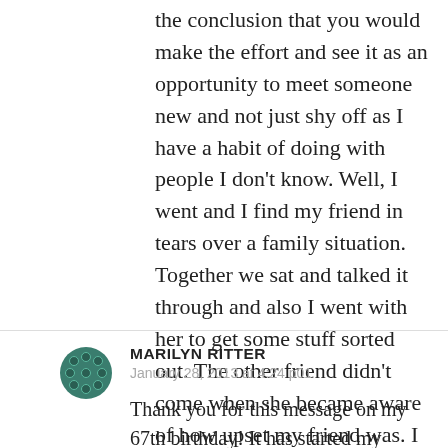the conclusion that you would make the effort and see it as an opportunity to meet someone new and not just shy off as I have a habit of doing with people I don't know. Well, I went and I find my friend in tears over a family situation. Together we sat and talked it through and also I went with her to get some stuff sorted out. The other friend didn't come when she became aware of how upset my friend was. I left her feeling much better, as I did myself. She and I owe you!
MARILYN RITTER
January 28, 2013 at 4:24 p01
Thank you for this message on my 67th birthday! It has started my new year off